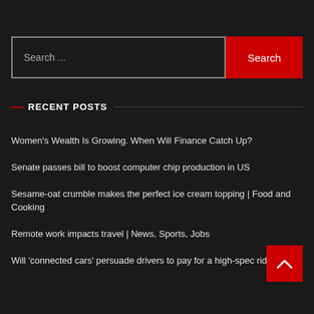Search ...
RECENT POSTS
Women's Wealth Is Growing. When Will Finance Catch Up?
Senate passes bill to boost computer chip production in US
Sesame-oat crumble makes the perfect ice cream topping | Food and Cooking
Remote work impacts travel | News, Sports, Jobs
Will 'connected cars' persuade drivers to pay for a high-spec ride? |